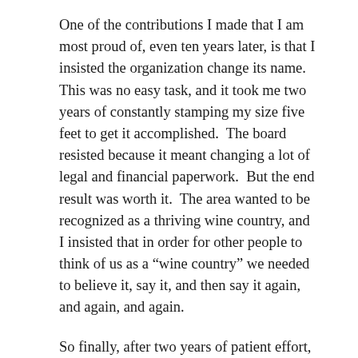One of the contributions I made that I am most proud of, even ten years later, is that I insisted the organization change its name. This was no easy task, and it took me two years of constantly stamping my size five feet to get it accomplished. The board resisted because it meant changing a lot of legal and financial paperwork. But the end result was worth it. The area wanted to be recognized as a thriving wine country, and I insisted that in order for other people to think of us as a “wine country” we needed to believe it, say it, and then say it again, and again, and again.
So finally, after two years of patient effort, the name was changed to Paso Robles Wine Country Alliance. And from that moment, “Paso Robles Wine Country” went on all printed matter, on the website, everywhere. The phone was answered every time it rang with “Paso Robles Wine Country”.